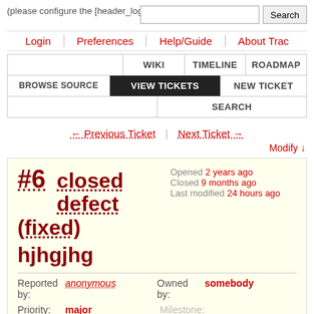(please configure the [header_logo] section in trac.ini)
Login | Preferences | Help/Guide | About Trac
WIKI | TIMELINE | ROADMAP | BROWSE SOURCE | VIEW TICKETS | NEW TICKET | SEARCH
← Previous Ticket | Next Ticket →
Modify ↓
#6 closed defect (fixed)
Opened 2 years ago
Closed 9 months ago
Last modified 24 hours ago
hjhgjhg
| Reported by: | anonymous | Owned by: | somebody |
| --- | --- | --- | --- |
| Priority: | major | Milestone: |  |